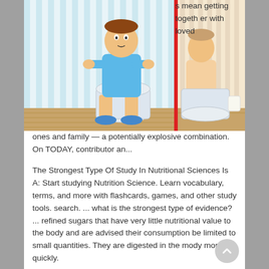[Figure (illustration): Two-panel illustration showing people sitting on a toilet, separated by a red vertical dividing line. Left panel shows a person in casual clothes (blue shirt, blue shoes) sitting on a toilet in a blue-striped bathroom. Right panel shows a partial view of another person sitting on a toilet.]
s mean getting together with loved ones and family — a potentially explosive combination. On TODAY, contributor an...
The Strongest Type Of Study In Nutritional Sciences Is A: Start studying Nutrition Science. Learn vocabulary, terms, and more with flashcards, games, and other study tools. search. ... what is the strongest type of evidence? ... refined sugars that have very little nutritional value to the body and are advised their consumption be limited to small quantities. They are digested in the mody more quickly.
Recent studies have found that involvement in a